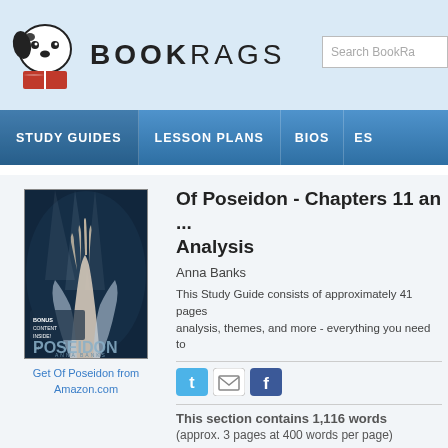[Figure (logo): BookRags logo with dalmatian dog mascot and red book icon]
BOOKRAGS
Search BookRa...
STUDY GUIDES   LESSON PLANS   BIOS   ES...
[Figure (photo): Book cover of 'Of Poseidon' by Anna Banks - dark underwater scene with hands reaching upward]
Get Of Poseidon from Amazon.com
Of Poseidon - Chapters 11 and 12 Analysis
Anna Banks
This Study Guide consists of approximately 41 pages of analysis, themes, and more - everything you need to
This section contains 1,116 words
(approx. 3 pages at 400 words per page)
View a FREE sample
Chapters 11 and 12 Summa...